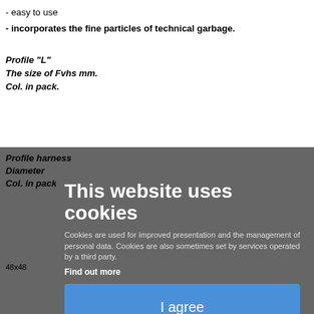- easy to use
- incorporates the fine particles of technical garbage.
Profile "L"
The size of Fvhs mm.
Col. in pack.
Profile harness
Diameter
Col. in pack.
48x48
This website uses cookies
Cookies are used for improved presentation and the management of personal data. Cookies are also sometimes set by services operated by a third party.
Find out more
I agree